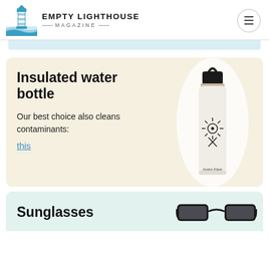EMPTY LIGHTHOUSE MAGAZINE
Insulated water bottle
Our best choice also cleans contaminants:
this
[Figure (photo): White Hydro Flask insulated water bottle with black flex cap]
Sunglasses
[Figure (photo): Black wraparound sunglasses with grey lenses]